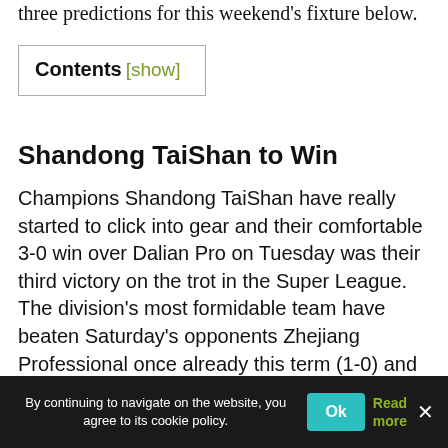three predictions for this weekend's fixture below.
Contents [show]
Shandong TaiShan to Win
Champions Shandong TaiShan have really started to click into gear and their comfortable 3-0 win over Dalian Pro on Tuesday was their third victory on the trot in the Super League. The division's most formidable team have beaten Saturday's opponents Zhejiang Professional once already this term (1-0) and with their
By continuing to navigate on the website, you agree to its cookie policy. Ok Read more ×